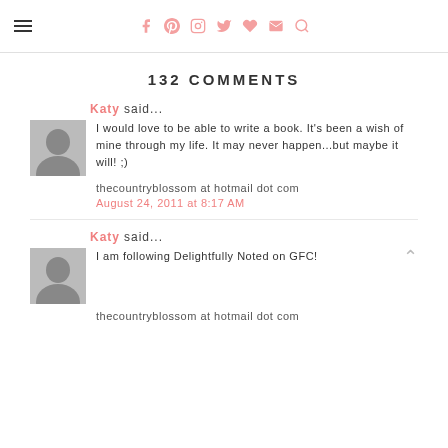Social media navigation header with hamburger menu and pink social icons (f, p, camera, bird, heart, envelope, search)
132 COMMENTS
Katy said...
I would love to be able to write a book. It's been a wish of mine through my life. It may never happen...but maybe it will! ;)
thecountryblossom at hotmail dot com
August 24, 2011 at 8:17 AM
Katy said...
I am following Delightfully Noted on GFC!
thecountryblossom at hotmail dot com